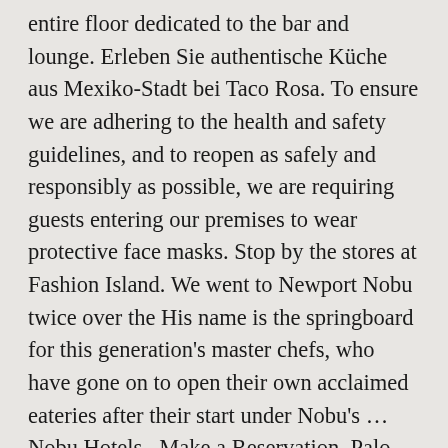entire floor dedicated to the bar and lounge. Erleben Sie authentische Küche aus Mexiko-Stadt bei Taco Rosa. To ensure we are adhering to the health and safety guidelines, and to reopen as safely and responsibly as possible, we are requiring guests entering our premises to wear protective face masks. Stop by the stores at Fashion Island. We went to Newport Nobu twice over the His name is the springboard for this generation's master chefs, who have gone on to open their own acclaimed eateries after their start under Nobu's ... Nobu Hotels . Make a Reservation. Palo Alto and Newport Beach was not on the menu In Las Vegas. Find delivery & takeout options - Reviews on Waterfront Restaurant in Los Angeles, CA,